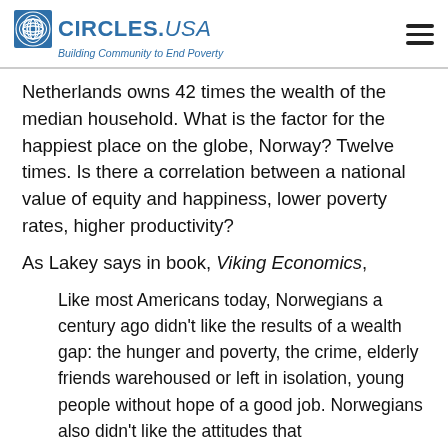CIRCLES.USA Building Community to End Poverty
Netherlands owns 42 times the wealth of the median household. What is the factor for the happiest place on the globe, Norway? Twelve times. Is there a correlation between a national value of equity and happiness, lower poverty rates, higher productivity?
As Lakey says in book, Viking Economics,
Like most Americans today, Norwegians a century ago didn't like the results of a wealth gap: the hunger and poverty, the crime, elderly friends warehoused or left in isolation, young people without hope of a good job. Norwegians also didn't like the attitudes that